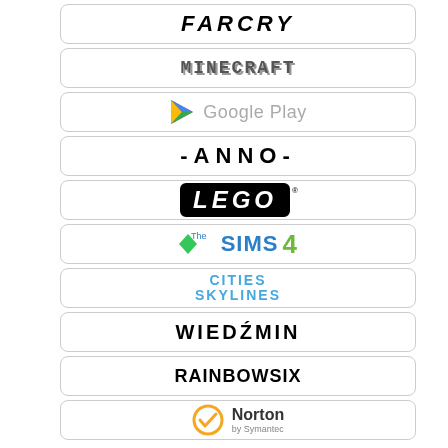[Figure (logo): Far Cry logo]
[Figure (logo): Minecraft logo]
[Figure (logo): Google Play logo]
[Figure (logo): ANNO logo]
[Figure (logo): LEGO logo]
[Figure (logo): The Sims 4 logo]
[Figure (logo): Cities Skylines logo]
[Figure (logo): Wiedzmin logo]
[Figure (logo): Rainbow Six logo]
[Figure (logo): Norton by Symantec logo]